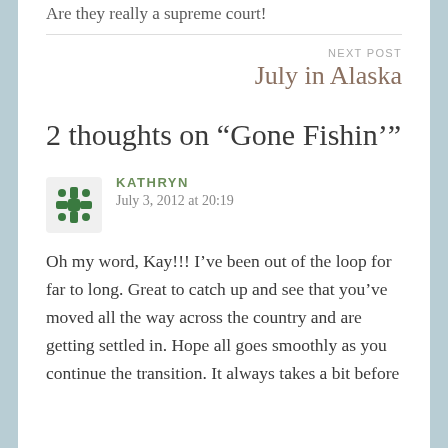Are they really a supreme court!
NEXT POST
July in Alaska
2 thoughts on “Gone Fishin’”
KATHRYN
July 3, 2012 at 20:19
Oh my word, Kay!!! I’ve been out of the loop for far to long. Great to catch up and see that you’ve moved all the way across the country and are getting settled in. Hope all goes smoothly as you continue the transition. It always takes a bit before